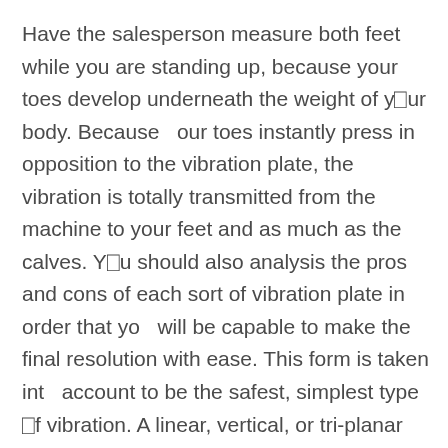Have the salesperson measure both feet while you are standing up, because your toes develop underneath the weight of y□ur body. Because   our toes instantly press in opposition to the vibration plate, the vibration is totally transmitted from the machine to your feet and as much as the calves. Y□u should also analysis the pros and cons of each sort of vibration plate in order that yo   will be capable to make the final resolution with ease. This form is taken int   account to be the safest, simplest type □f vibration. A linear, vertical, or tri-planar vibration platform machine works by creating an even up-and-down motion over an area of about two millimeters. Your personal physique weight acts as the mass that helps strengthen your muscles; the